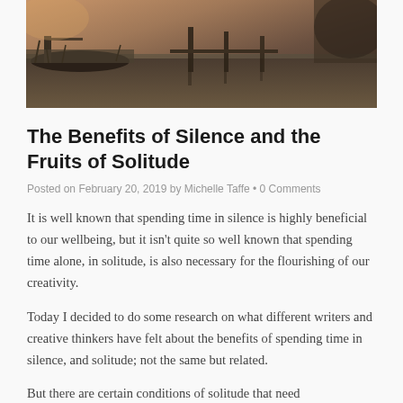[Figure (photo): Sepia-toned photograph of old wooden boats or a dock reflected in still water, with a moody atmospheric quality]
The Benefits of Silence and the Fruits of Solitude
Posted on February 20, 2019 by Michelle Taffe • 0 Comments
It is well known that spending time in silence is highly beneficial to our wellbeing, but it isn't quite so well known that spending time alone, in solitude, is also necessary for the flourishing of our creativity.
Today I decided to do some research on what different writers and creative thinkers have felt about the benefits of spending time in silence, and solitude; not the same but related.
But there are certain conditions of solitude that need...